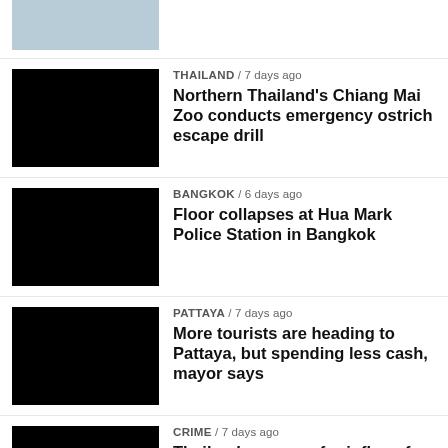[Figure (photo): Partial airplane photo at top, cropped]
THAILAND / 7 days ago
Northern Thailand's Chiang Mai Zoo conducts emergency ostrich escape drill
BANGKOK / 6 days ago
Floor collapses at Hua Mark Police Station in Bangkok
PATTAYA / 7 days ago
More tourists are heading to Pattaya, but spending less cash, mayor says
CRIME / 7 days ago
Thailand prepares for influx of foreign criminals this High Season
THAILAND / 12 months ago
Morning Top Stories Thailand | Police to end protests, Human Trafficking | September 14